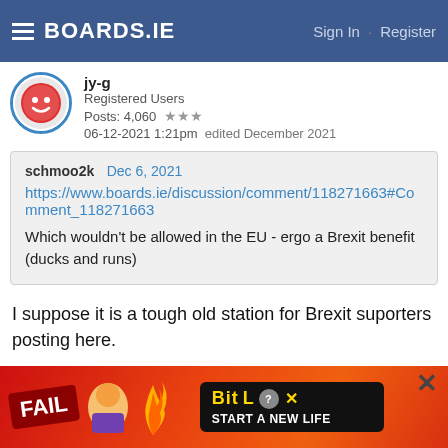BOARDS.IE  Sign In · Register
Registered Users
Posts: 4,060 ★★★
06-12-2021 1:21pm   edited December 2021
schmoo2k  Dec 6, 2021
https://www.boards.ie/discussion/comment/118271663#Comment_118271663
Which wouldn't be allowed in the EU - ergo a Brexit benefit (ducks and runs)
I suppose it is a tough old station for Brexit suporters posting here.

Afair, UK govt. only had to do that because...the UK were
[Figure (screenshot): BitLife advertisement banner at the bottom of the screen with FAIL text and START A NEW LIFE tagline]